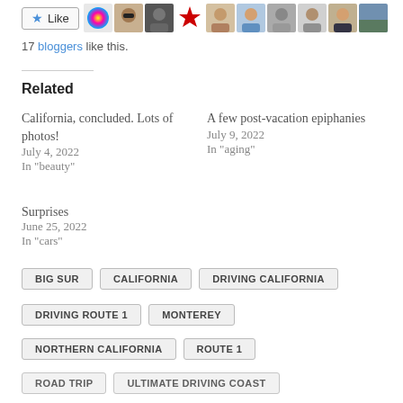[Figure (other): Like button with star icon followed by a row of blogger avatar thumbnails]
17 bloggers like this.
Related
California, concluded. Lots of photos!
July 4, 2022
In "beauty"
A few post-vacation epiphanies
July 9, 2022
In "aging"
Surprises
June 25, 2022
In "cars"
BIG SUR
CALIFORNIA
DRIVING CALIFORNIA
DRIVING ROUTE 1
MONTEREY
NORTHERN CALIFORNIA
ROUTE 1